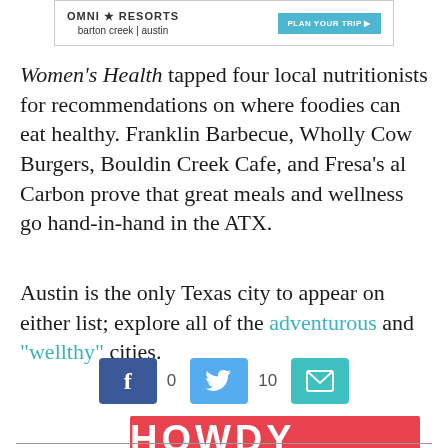[Figure (other): Advertisement banner for Omni Resorts Barton Creek Austin with a teal 'PLAN YOUR TRIP' button]
Women's Health tapped four local nutritionists for recommendations on where foodies can eat healthy. Franklin Barbecue, Wholly Cow Burgers, Bouldin Creek Cafe, and Fresa's al Carbon prove that great meals and wellness go hand-in-hand in the ATX.
Austin is the only Texas city to appear on either list; explore all of the adventurous and "wellthy" cities.
[Figure (infographic): Social sharing buttons: Facebook (0 shares), Twitter (10 shares), Email]
[Figure (infographic): Red banner button reading HOWDY ALL]